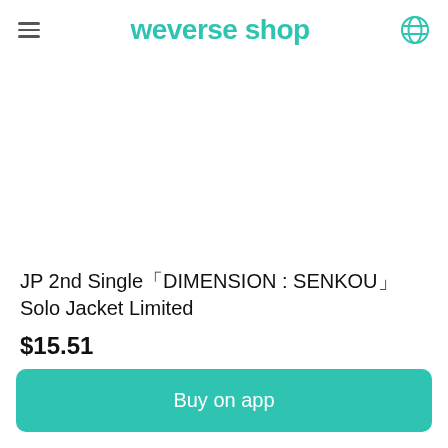weverse shop
[Figure (illustration): Product image area — white/blank space where product photo would appear]
JP 2nd Single「DIMENSION : SENKOU」Solo Jacket Limited
$15.51
Weverse Shop Cash $0.15
Buy on app